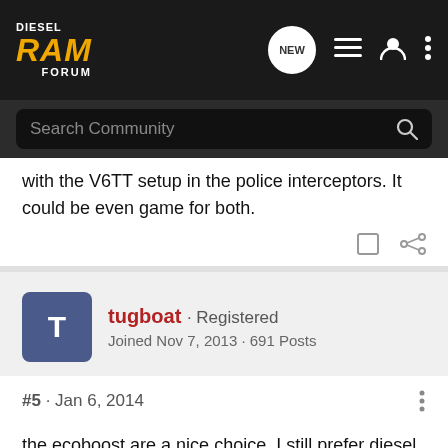Diesel RAM Forum
with the V6TT setup in the police interceptors. It could be even game for both.
tugboat · Registered
Joined Nov 7, 2013 · 691 Posts
#5 · Jan 6, 2014
the ecoboost are a nice choice. I still prefer diesel though.